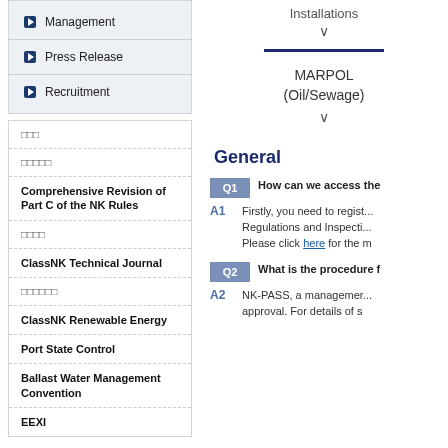Management
Press Release
Recruitment
Installations
MARPOL (Oil/Sewage)
□□□
□□□□□
Comprehensive Revision of Part C of the NK Rules
□□□□
ClassNK Technical Journal
□□□□□□
ClassNK Renewable Energy
Port State Control
Ballast Water Management Convention
EEXI
General
Q1  How can we access the
A1  Firstly, you need to regist... Regulations and Inspecti... Please click here for the m
Q2  What is the procedure f
A2  NK-PASS, a managemer... approval. For details of s